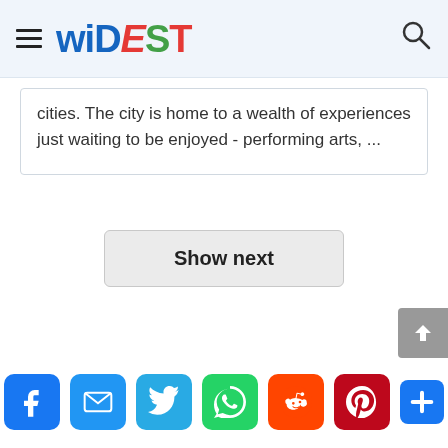widest (logo) with hamburger menu and search icon
cities. The city is home to a wealth of experiences just waiting to be enjoyed - performing arts, ...
Show next
[Figure (infographic): Social share buttons: Facebook, Email, Twitter, WhatsApp, Reddit, Pinterest, and a plus/more button]